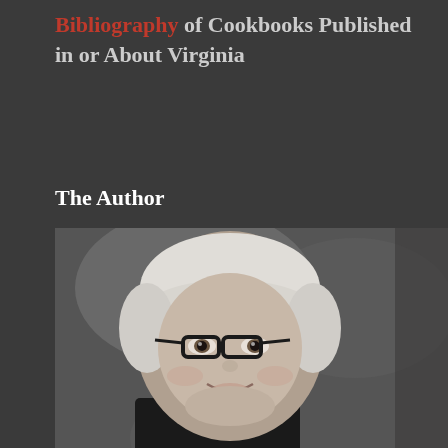Bibliography of Cookbooks Published in or About Virginia
The Author
[Figure (photo): Black and white portrait photo of a woman with short white hair and dark-rimmed glasses, smiling, wearing a dark top]